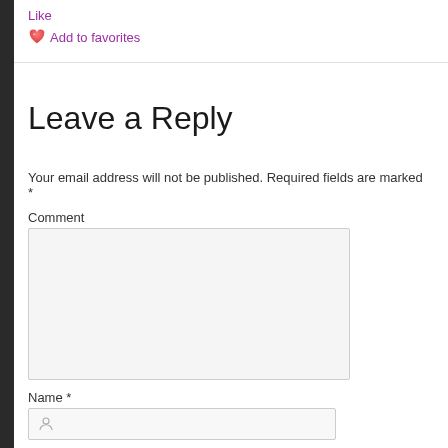Like
❤️ Add to favorites
Leave a Reply
Your email address will not be published. Required fields are marked *
Comment
[Figure (screenshot): Comment text area input field (empty, light gray background)]
Name *
[Figure (screenshot): Name input field with person icon]